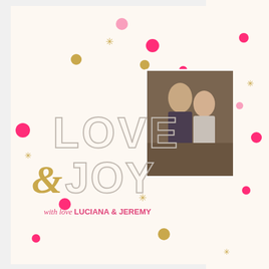[Figure (illustration): Holiday greeting card with cream background, scattered pink and gold confetti dots and gold starburst decorations. Features large outlined text 'LOVE & JOY' where & is in gold italic. Subtitle reads 'with love LUCIANA & JEREMY'. Two couple photos are placed on the card. A second partially visible card is shown on the right side.]